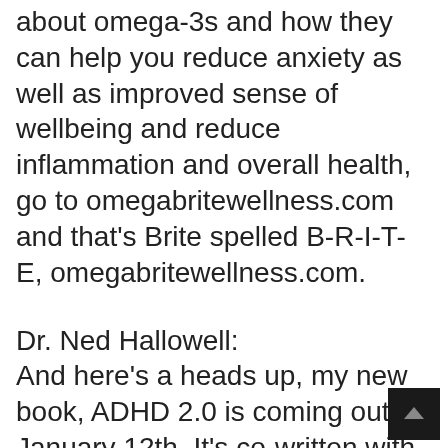about omega-3s and how they can help you reduce anxiety as well as improved sense of wellbeing and reduce inflammation and overall health, go to omegabritewellness.com and that's Brite spelled B-R-I-T-E, omegabritewellness.com.
Dr. Ned Hallowell:
And here's a heads up, my new book, ADHD 2.0 is coming out on January 12th. It's co-written with my buddy John Ratey, and we lay out a revolutionary new approach featuring new science and strategies to help people with ADD, ADHD thrive. And we certainly mentioned omega-3 fatty